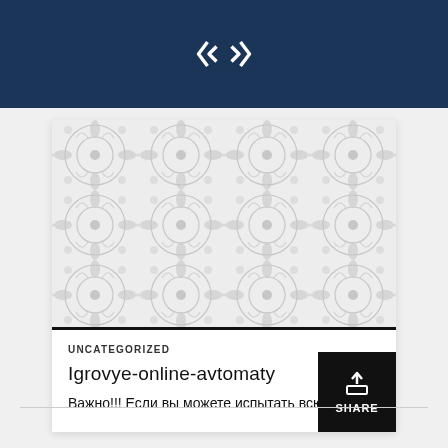[Figure (illustration): Decorative tile/ornamental pattern area in light gray, with repeated floral/geometric motifs]
UNCATEGORIZED
Igrovye-online-avtomaty
Важно!!! Если вы можете испытать всю мо
[Figure (other): Share button overlay with upload icon and SHARE label]